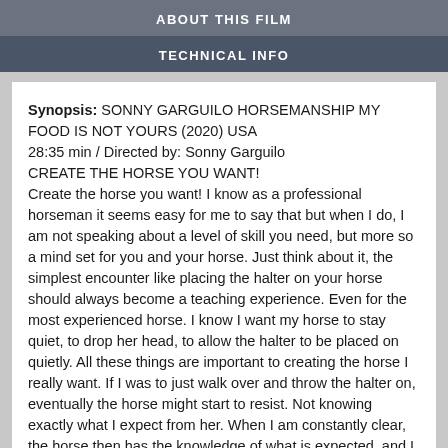ABOUT THIS FILM
TECHNICAL INFO
Synopsis: SONNY GARGUILO HORSEMANSHIP MY FOOD IS NOT YOURS (2020) USA 28:35 min / Directed by: Sonny Garguilo CREATE THE HORSE YOU WANT! Create the horse you want! I know as a professional horseman it seems easy for me to say that but when I do, I am not speaking about a level of skill you need, but more so a mind set for you and your horse. Just think about it, the simplest encounter like placing the halter on your horse should always become a teaching experience. Even for the most experienced horse. I know I want my horse to stay quiet, to drop her head, to allow the halter to be placed on quietly. All these things are important to creating the horse I really want. If I was to just walk over and throw the halter on, eventually the horse might start to resist. Not knowing exactly what I expect from her. When I am constantly clear, the horse then has the knowledge of what is expected, and I create the horse I want.